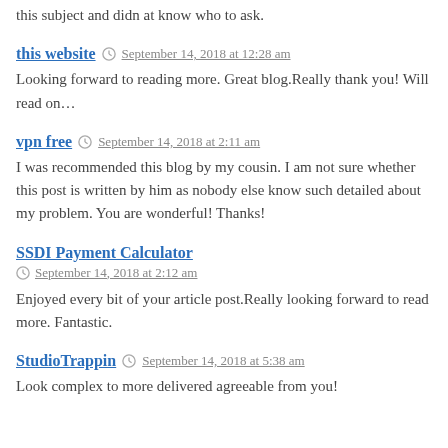this subject and didn at know who to ask.
this website  September 14, 2018 at 12:28 am
Looking forward to reading more. Great blog.Really thank you! Will read on…
vpn free  September 14, 2018 at 2:11 am
I was recommended this blog by my cousin. I am not sure whether this post is written by him as nobody else know such detailed about my problem. You are wonderful! Thanks!
SSDI Payment Calculator  September 14, 2018 at 2:12 am
Enjoyed every bit of your article post.Really looking forward to read more. Fantastic.
StudioTrappin  September 14, 2018 at 5:38 am
Look complex to more delivered agreeable from you!